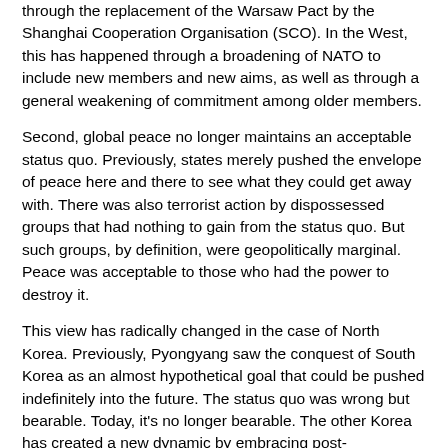through the replacement of the Warsaw Pact by the Shanghai Cooperation Organisation (SCO). In the West, this has happened through a broadening of NATO to include new members and new aims, as well as through a general weakening of commitment among older members.
Second, global peace no longer maintains an acceptable status quo. Previously, states merely pushed the envelope of peace here and there to see what they could get away with. There was also terrorist action by dispossessed groups that had nothing to gain from the status quo. But such groups, by definition, were geopolitically marginal. Peace was acceptable to those who had the power to destroy it.
This view has radically changed in the case of North Korea. Previously, Pyongyang saw the conquest of South Korea as an almost hypothetical goal that could be pushed indefinitely into the future. The status quo was wrong but bearable. Today, it's no longer bearable. The other Korea has created a new dynamic by embracing post-nationalism, multiculturalism, and large-scale immigration.
This might not matter if the North had followed the same